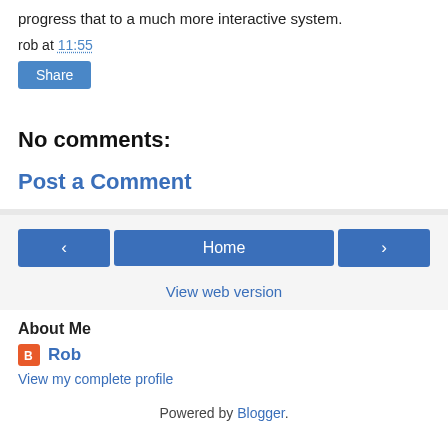progress that to a much more interactive system.
rob at 11:55
Share
No comments:
Post a Comment
‹
Home
›
View web version
About Me
Rob
View my complete profile
Powered by Blogger.